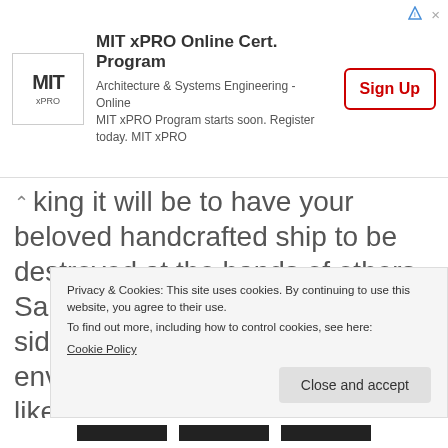[Figure (screenshot): MIT xPRO Online Certificate Program advertisement banner with logo, text, and Sign Up button]
king it will be to have your beloved handcrafted ship to be destroyed at the hands of others. Same with Sea of Thieves, the side of playing in an online environment that I really don't like. But then there are times when a stranger becomes an ally. These are the times when playing online really shines when you connect and experience something t...
Privacy & Cookies: This site uses cookies. By continuing to use this website, you agree to their use.
To find out more, including how to control cookies, see here:
Cookie Policy

Close and accept